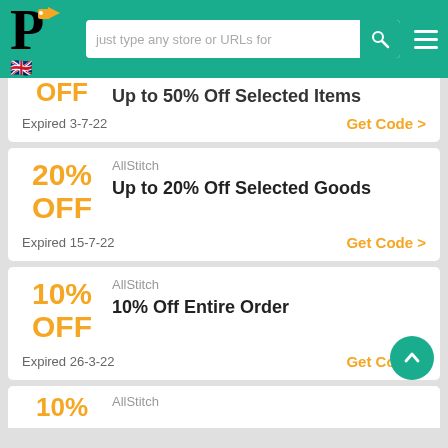[Figure (screenshot): Website header with logo P with orange tag icon, UK flag, search bar with text 'just type any store or URLs for', search icon, and hamburger menu on teal/green background]
OFF Up to 50% Off Selected Items
Expired 3-7-22
Get Code >
20% OFF
AllStitch
Up to 20% Off Selected Goods
Expired 15-7-22
Get Code >
10% OFF
AllStitch
10% Off Entire Order
Expired 26-3-22
Get Code >
AllStitch